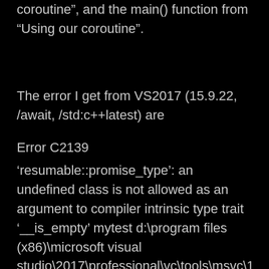coroutine”, and the main() function from “Using our coroutine”.
The error I get from VS2017 (15.9.22, /await, /std:c++latest) are
Error C2139
‘resumable::promise_type’: an undefined class is not allowed as an argument to compiler intrinsic type trait ‘__is_empty’ mytest d:\program files (x86)\microsoft visual studio\2017\professional\vc\tools\msvc\1 719